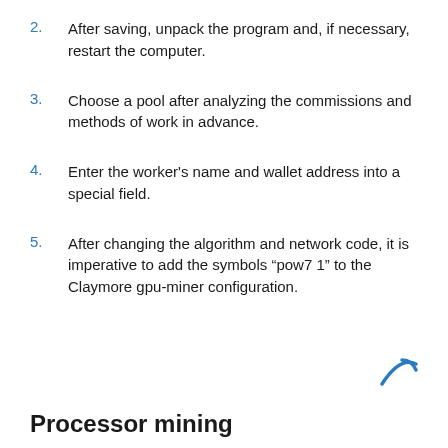2. After saving, unpack the program and, if necessary, restart the computer.
3. Choose a pool after analyzing the commissions and methods of work in advance.
4. Enter the worker's name and wallet address into a special field.
5. After changing the algorithm and network code, it is imperative to add the symbols “pow7 1” to the Claymore gpu-miner configuration.
Processor mining